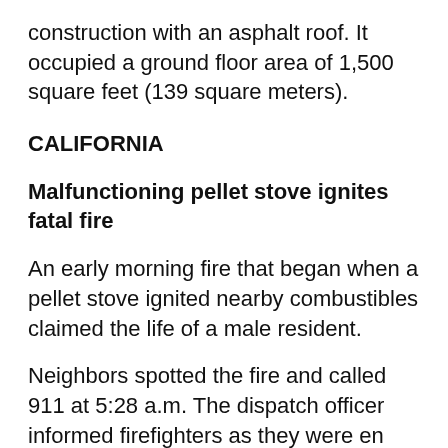construction with an asphalt roof. It occupied a ground floor area of 1,500 square feet (139 square meters).
CALIFORNIA
Malfunctioning pellet stove ignites fatal fire
An early morning fire that began when a pellet stove ignited nearby combustibles claimed the life of a male resident.
Neighbors spotted the fire and called 911 at 5:28 a.m. The dispatch officer informed firefighters as they were en route to the scene that a resident was possibly still inside the structure. Upon arrival, crews found a manufactured home fully involved with fire, with fire venting through the roof and front and rear